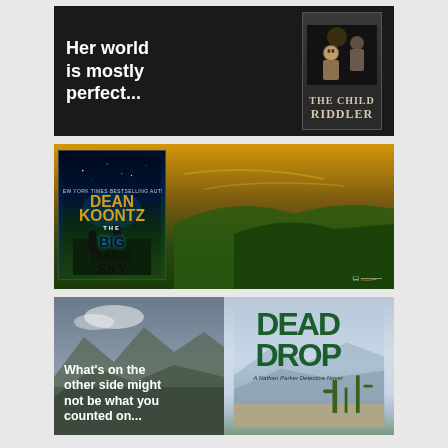[Figure (illustration): Book advertisement for 'The Child Riddler' - dark background with text 'Her world is mostly perfect...' on the left and book cover image on the right showing two children and the title 'THE CHILD RIDDLER']
[Figure (illustration): Book advertisement for Dean Koontz 'The Big Dark Sky' - green landscape background with book cover on left and text 'BROUGHT TOGETHER BY A POWER UNKNOWN, FOR A PURPOSE UNTHINKABLE' with 'LEARN MORE' and Amazon Publishing logo]
[Figure (illustration): Book advertisement for 'Dead Drop: A Nathan Parker Detective Novel' - left side shows desert mountain landscape with text 'What's on the other side might not be what you counted on...' and right side shows book cover with desert/cactus scene]